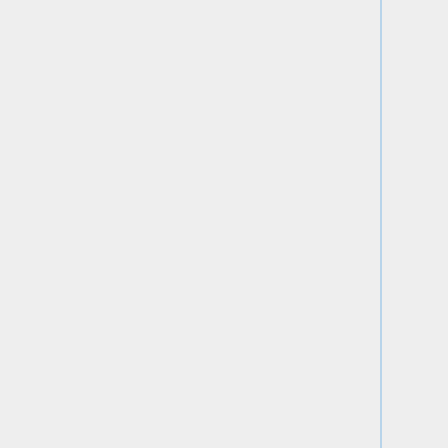among them four honorary doctorates, the Quazza Medal from IFAC, the Rufus Oldenburger Medal from ASME, the IEEE Field Award in Control Systems Science and the IEEE Medal of Honor.
among them four honorary doctorates, the Quazza Medal from IFAC, the Rufus Oldenburger Medal from ASME, the IEEE Field Award in Control Systems Science and the IEEE Medal of Honor.